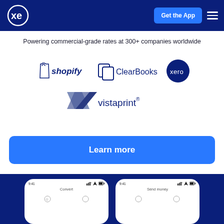xe — Get the App
Powering commercial-grade rates at 300+ companies worldwide
[Figure (logo): Partner logos: Shopify, ClearBooks, Xero, Vistaprint]
Learn more
[Figure (screenshot): Two phone mockups showing Convert and Send money screens of the XE app]